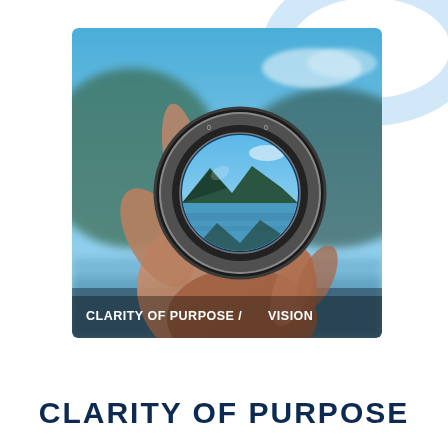[Figure (photo): A hand holds a camera lens up against a blurred outdoor background of mountains and blue sky. Through the circular lens aperture, a sharp mountain lake scene is visible. Text overlay at bottom reads 'CLARITY OF PURPOSE / VISION' in white bold uppercase letters.]
CLARITY OF PURPOSE